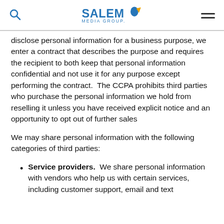Salem Media Group
disclose personal information for a business purpose, we enter a contract that describes the purpose and requires the recipient to both keep that personal information confidential and not use it for any purpose except performing the contract.  The CCPA prohibits third parties who purchase the personal information we hold from reselling it unless you have received explicit notice and an opportunity to opt out of further sales
We may share personal information with the following categories of third parties:
Service providers.  We share personal information with vendors who help us with certain services, including customer support, email and text